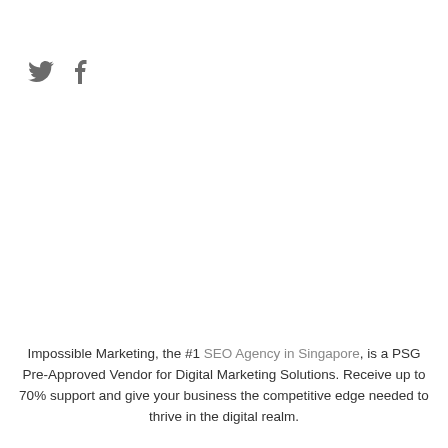[Figure (other): Twitter and Facebook social media icons in grey]
Impossible Marketing, the #1 SEO Agency in Singapore, is a PSG Pre-Approved Vendor for Digital Marketing Solutions. Receive up to 70% support and give your business the competitive edge needed to thrive in the digital realm.